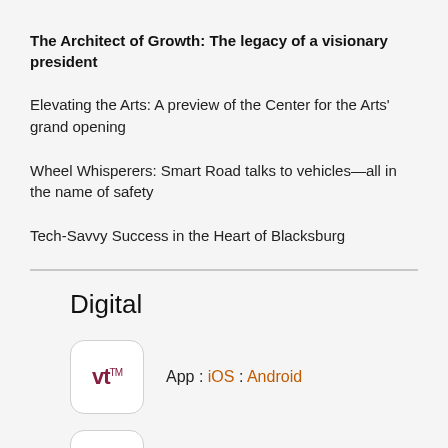The Architect of Growth: The legacy of a visionary president
Elevating the Arts: A preview of the Center for the Arts' grand opening
Wheel Whisperers: Smart Road talks to vehicles—all in the name of safety
Tech-Savvy Success in the Heart of Blacksburg
Digital
App : iOS : Android
'Flip' version